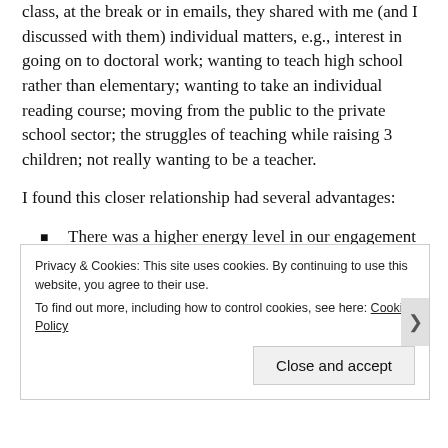class, at the break or in emails, they shared with me (and I discussed with them) individual matters, e.g., interest in going on to doctoral work; wanting to teach high school rather than elementary; wanting to take an individual reading course; moving from the public to the private school sector; the struggles of teaching while raising 3 children; not really wanting to be a teacher.
I found this closer relationship had several advantages:
There was a higher energy level in our engagement
Our interactions – and the class experience generally – were more enjoyable
Privacy & Cookies: This site uses cookies. By continuing to use this website, you agree to their use. To find out more, including how to control cookies, see here: Cookie Policy